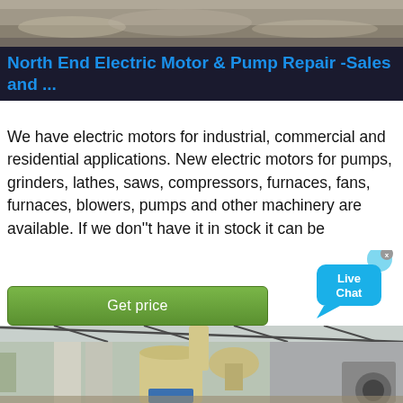[Figure (photo): Top partial image showing an outdoor industrial or quarry scene with gravel/aggregate material]
North End Electric Motor & Pump Repair -Sales and ...
We have electric motors for industrial, commercial and residential applications. New electric motors for pumps, grinders, lathes, saws, compressors, furnaces, fans, furnaces, blowers, pumps and other machinery are available. If we don''t have it in stock it can be
[Figure (other): Live Chat button bubble in blue]
[Figure (photo): Industrial machinery photo showing a grinding mill or pulverizer machine with yellow/cream colored conical body inside a warehouse structure with metal roof trusses]